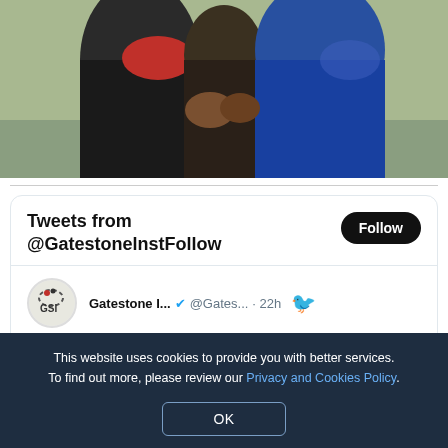[Figure (photo): Partial photo of people embracing outdoors near water, cropped at top of page]
Tweets from @GatestonelnstFollow
Gatestone I... @Gates... · 22h
China's regime tortures and kills critics, petitioners, activists, dissidents and religious adherents in psychiatric hospitals. In China's "peace and health" system, detainees are strapped down, pumped full of drugs and receive... @GatestonelnstFour...
This website uses cookies to provide you with better services. To find out more, please review our Privacy and Cookies Policy.
OK